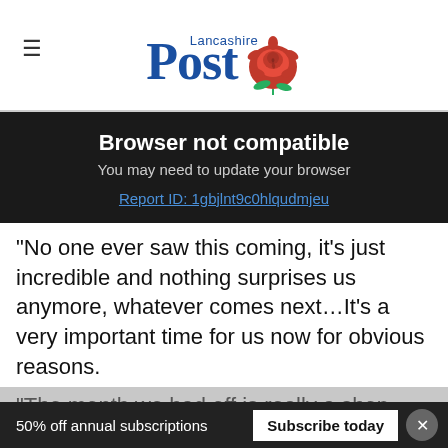Lancashire Post
Browser not compatible
You may need to update your browser
Report ID: 1gbjlnt9c0hlqudmjeu
“No one ever saw this coming, it’s just incredible and nothing surprises us anymore, whatever comes next…It’s a very important time for us now for obvious reasons.
“The month we had off is really a shop window for our trading, people looking to buy before Christmas and we’ve now lost that
50% off annual subscriptions  Subscribe today  ×